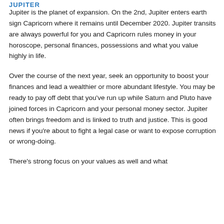JUPITER
Jupiter is the planet of expansion. On the 2nd, Jupiter enters earth sign Capricorn where it remains until December 2020. Jupiter transits are always powerful for you and Capricorn rules money in your horoscope, personal finances, possessions and what you value highly in life.
Over the course of the next year, seek an opportunity to boost your finances and lead a wealthier or more abundant lifestyle. You may be ready to pay off debt that you've run up while Saturn and Pluto have joined forces in Capricorn and your personal money sector. Jupiter often brings freedom and is linked to truth and justice. This is good news if you’re about to fight a legal case or want to expose corruption or wrong-doing.
There’s strong focus on your values as well and what